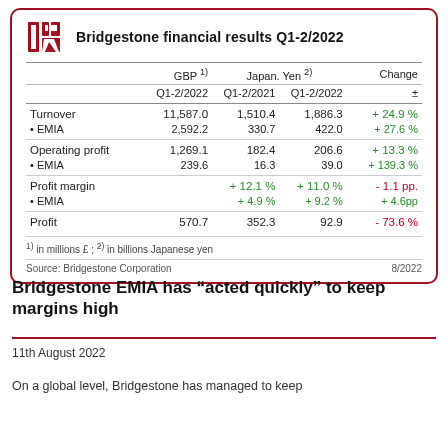Bridgestone financial results Q1-2/2022
|  | GBP 1) Q1-2/2022 | Japan. Yen 2) Q1-2/2021 | Japan. Yen 2) Q1-2/2022 | Change ± |
| --- | --- | --- | --- | --- |
| Turnover | 11,587.0 | 1,510.4 | 1,886.3 | +24.9 % |
| • EMIA | 2,592.2 | 330.7 | 422.0 | +27.6 % |
| Operating profit | 1,269.1 | 182.4 | 206.6 | +13.3 % |
| • EMIA | 239.6 | 16.3 | 39.0 | +139.3 % |
| Profit margin |  | +12.1 % | +11.0 % | -1.1 pp. |
| • EMIA |  | +4.9 % | +9.2 % | +4.6pp |
| Profit | 570.7 | 352.3 | 92.9 | -73.6 % |
1) in millions £ ; 2) in billions Japanese yen
Source: Bridgestone Corporation    8/2022
Bridgestone EMIA has “acted quickly” to keep margins high
11th August 2022
On a global level, Bridgestone has managed to keep